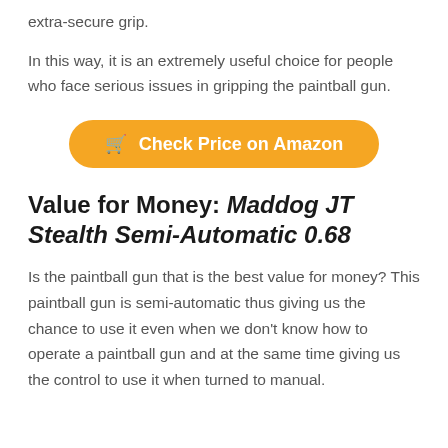extra-secure grip.
In this way, it is an extremely useful choice for people who face serious issues in gripping the paintball gun.
[Figure (other): Orange rounded button with shopping cart icon and text 'Check Price on Amazon']
Value for Money: Maddog JT Stealth Semi-Automatic 0.68
Is the paintball gun that is the best value for money? This paintball gun is semi-automatic thus giving us the chance to use it even when we don't know how to operate a paintball gun and at the same time giving us the control to use it when turned to manual.